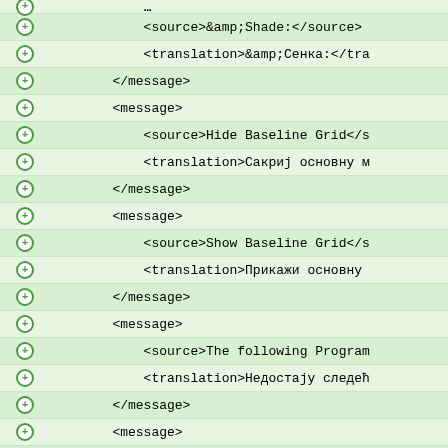XML source/translation code view showing message elements with source and translation tags
<source>&amp;Shade:</source>
<translation>&amp;Сенка:</tra
</message>
<message>
<source>Hide Baseline Grid</s
<translation>Сакриј основну м
</message>
<message>
<source>Show Baseline Grid</s
<translation>Прикажи основну
</message>
<message>
<source>The following Program
<translation>Недостају следећ
</message>
<message>
<source>Ghostscript : You can
<translation>Ghostscript : Не
</message>
<message>
<source>All</source>
<translation>Све</translation
</message>
<message>